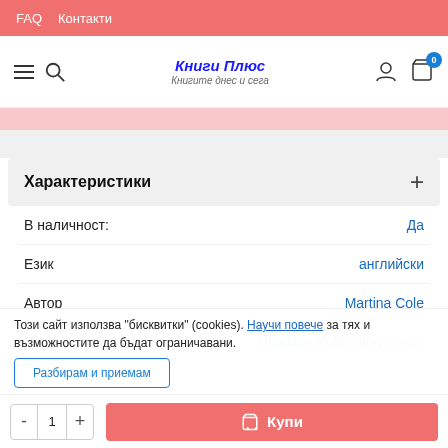FAQ  Контакти
[Figure (logo): Книги Плюс logo with tagline Книгите днес и сега]
Характеристики
| Атрибут | Стойност |
| --- | --- |
| В наличност: | Да |
| Език | английски |
| Автор | Martina Cole |
| Издателство | Headline Publishing Group |
Етикети   английска литература, литература в ...
Този сайт използва "бисквитки" (cookies). Научи повече за тях и възможностите да бъдат ограничавани.
Разбирам и приемам
Купи